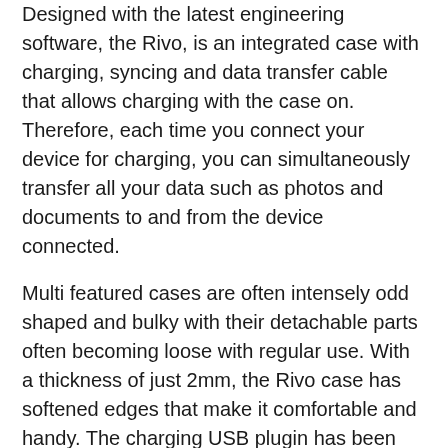Designed with the latest engineering software, the Rivo, is an integrated case with charging, syncing and data transfer cable that allows charging with the case on. Therefore, each time you connect your device for charging, you can simultaneously transfer all your data such as photos and documents to and from the device connected.
Multi featured cases are often intensely odd shaped and bulky with their detachable parts often becoming loose with regular use. With a thickness of just 2mm, the Rivo case has softened edges that make it comfortable and handy. The charging USB plugin has been given at the backside of the case, which is covered with flexible silicon, making it smooth, and easy access to flip open.
The Rivo case